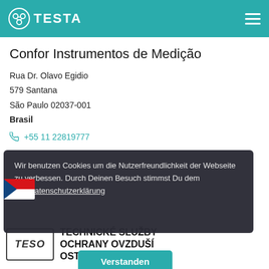TESTA
Confor Instrumentos de Medição
Rua Dr. Olavo Egidio
579 Santana
São Paulo 02037-001
Brasil
+55 11 22819777
Wir benutzen Cookies um die Nutzerfreundlichkeit der Webseite zu verbessen. Durch Deinen Besuch stimmst Du dem zu.  Datenschutzerklärung
Verstanden
TECHNICKÉ SLUŽBY OCHRANY OVZDUŠÍ OSTRAVA, spol. s r.o.